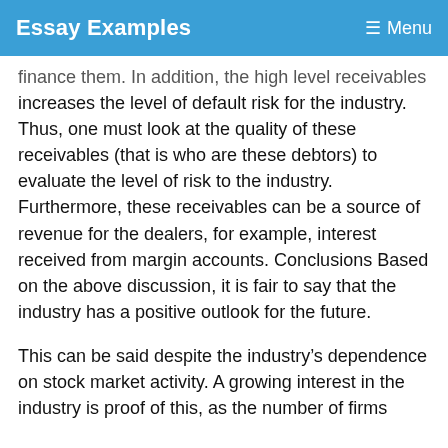Essay Examples   Menu
finance them. In addition, the high level receivables increases the level of default risk for the industry. Thus, one must look at the quality of these receivables (that is who are these debtors) to evaluate the level of risk to the industry. Furthermore, these receivables can be a source of revenue for the dealers, for example, interest received from margin accounts. Conclusions Based on the above discussion, it is fair to say that the industry has a positive outlook for the future.
This can be said despite the industry's dependence on stock market activity. A growing interest in the industry is proof of this, as the number of firms